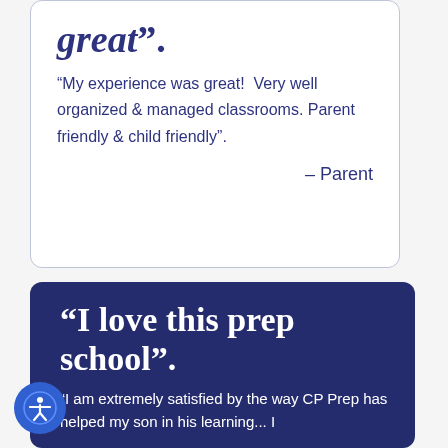great”.
“My experience was great!  Very well organized & managed classrooms. Parent friendly & child friendly”.
– Parent
“I love this prep school”.
“I am extremely satisfied by the way CP Prep has helped my son in his learning...